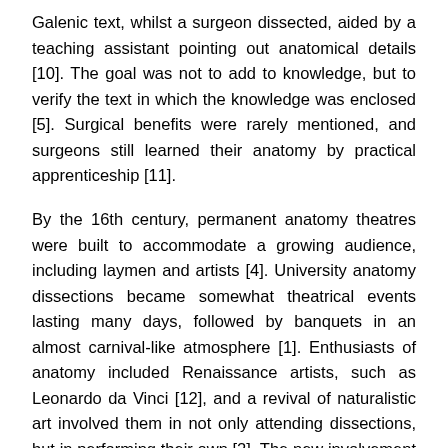Galenic text, whilst a surgeon dissected, aided by a teaching assistant pointing out anatomical details [10]. The goal was not to add to knowledge, but to verify the text in which the knowledge was enclosed [5]. Surgical benefits were rarely mentioned, and surgeons still learned their anatomy by practical apprenticeship [11].
By the 16th century, permanent anatomy theatres were built to accommodate a growing audience, including laymen and artists [4]. University anatomy dissections became somewhat theatrical events lasting many days, followed by banquets in an almost carnival-like atmosphere [1]. Enthusiasts of anatomy included Renaissance artists, such as Leonardo da Vinci [12], and a revival of naturalistic art involved them in not only attending dissections, but in performing their own [2]. The new involvement of artists with anatomy resulted in more realistic medical illustrations, which became increasingly available [13].
Andreus Vesalius, at the University of Padua, not only